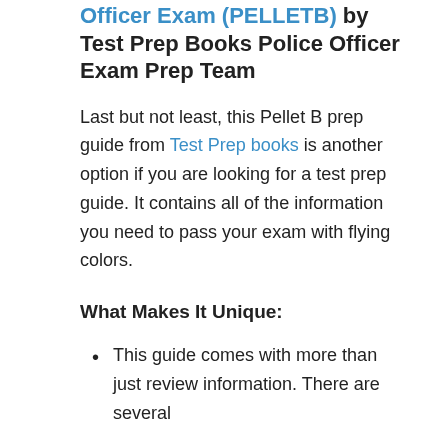Officer Exam (PELLETB) by Test Prep Books Police Officer Exam Prep Team
Last but not least, this Pellet B prep guide from Test Prep books is another option if you are looking for a test prep guide. It contains all of the information you need to pass your exam with flying colors.
What Makes It Unique:
This guide comes with more than just review information. There are several